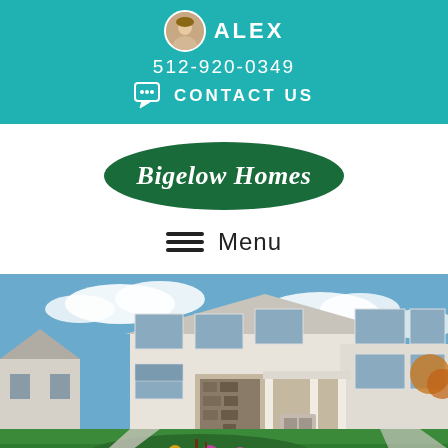ALEX  512-920-0349  CONTACT US
[Figure (logo): Bigelow Homes oval green logo]
≡ Menu
[Figure (photo): Two-story white colonial home with covered front porch, stone accent, manicured green lawn with colorful flowers in foreground, blue sky with clouds, suburban neighborhood in background]